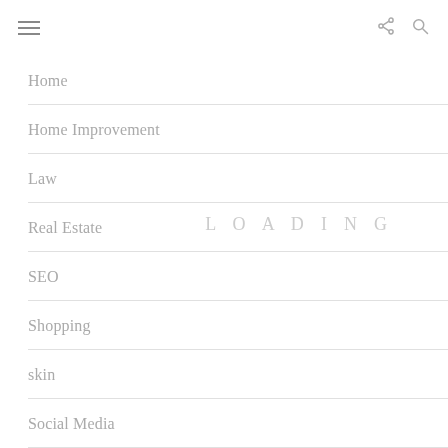[Figure (screenshot): Hamburger menu icon (three horizontal lines) in top-left corner]
[Figure (screenshot): Share icon (network/share symbol) in top-right area]
[Figure (screenshot): Search icon (magnifying glass) in top-right corner]
Home
Home Improvement
Law
Real Estate
SEO
Shopping
skin
Social Media
LOADING